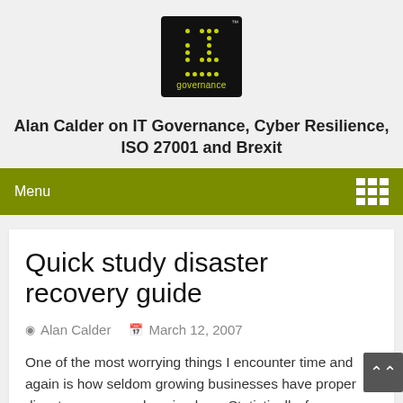[Figure (logo): IT Governance logo — black square with yellow/green dot matrix forming 'it' letters and 'governance' text below, with TM mark]
Alan Calder on IT Governance, Cyber Resilience, ISO 27001 and Brexit
Menu
Quick study disaster recovery guide
Alan Calder   March 12, 2007
One of the most worrying things I encounter time and again is how seldom growing businesses have proper disaster recovery plans in place. Statistically, few businesses that suffer a major data loss or business